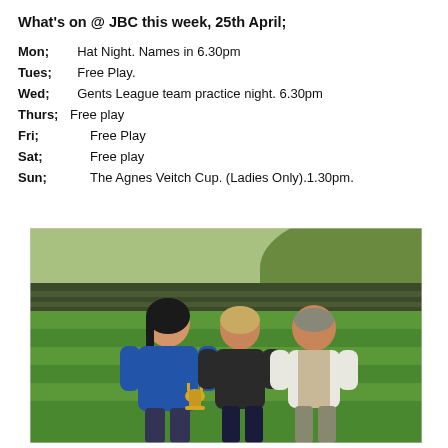What's on @ JBC this week, 25th April;
Mon;  Hat Night. Names in 6.30pm
Tues;  Free Play.
Wed;  Gents League team practice night. 6.30pm
Thurs; Free play
Fri;   Free Play
Sat;   Free play
Sun;   The Agnes Veitch Cup. (Ladies Only).1.30pm.
[Figure (photo): Three people standing on a bowling green. A woman in a blue jacket on the left holding a trophy cup, a man in a dark quilted jacket in the center, and a man in a white vest on the right. Behind them are bleacher seating and a green hillside.]